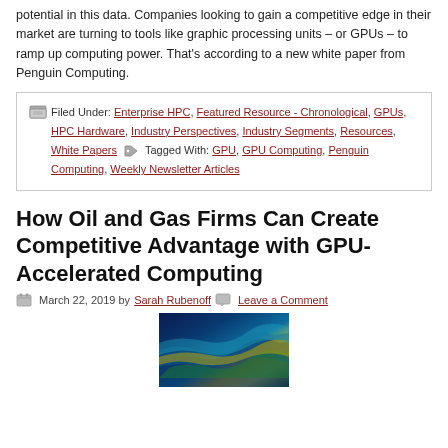potential in this data. Companies looking to gain a competitive edge in their market are turning to tools like graphic processing units – or GPUs – to ramp up computing power. That's according to a new white paper from Penguin Computing.
Filed Under: Enterprise HPC, Featured Resource - Chronological, GPUs, HPC Hardware, Industry Perspectives, Industry Segments, Resources, White Papers Tagged With: GPU, GPU Computing, Penguin Computing, Weekly Newsletter Articles
How Oil and Gas Firms Can Create Competitive Advantage with GPU-Accelerated Computing
March 22, 2019 by Sarah Rubenoff  Leave a Comment
[Figure (photo): A seismic or fluid simulation visualization showing layered wave patterns in blue, teal, yellow, and green colors, suggesting oil and gas subsurface imaging.]